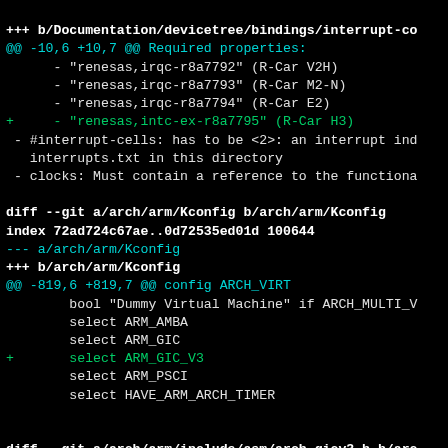[Figure (screenshot): Git diff output showing changes to device tree bindings and ARM Kconfig files, displayed in a terminal with black background and colored text (white, cyan, green for diff syntax highlighting).]